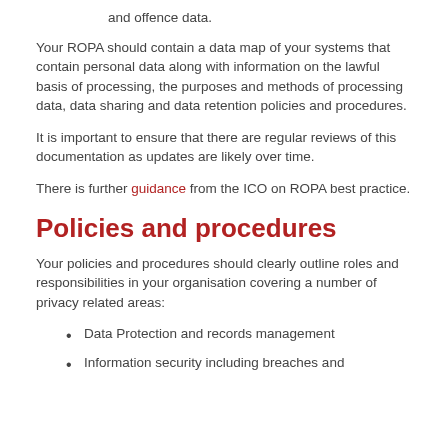and offence data.
Your ROPA should contain a data map of your systems that contain personal data along with information on the lawful basis of processing, the purposes and methods of processing data, data sharing and data retention policies and procedures.
It is important to ensure that there are regular reviews of this documentation as updates are likely over time.
There is further guidance from the ICO on ROPA best practice.
Policies and procedures
Your policies and procedures should clearly outline roles and responsibilities in your organisation covering a number of privacy related areas:
Data Protection and records management
Information security including breaches and